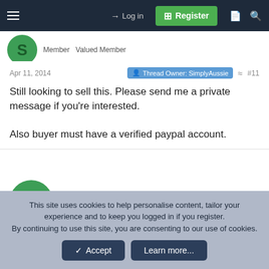Log in  Register
Member  Valued Member
Apr 11, 2014  Thread Owner: SimplyAussie  #11
Still looking to sell this. Please send me a private message if you're interested.

Also buyer must have a verified paypal account.
SimplyAussie
Member  Valued Member
This site uses cookies to help personalise content, tailor your experience and to keep you logged in if you register.
By continuing to use this site, you are consenting to our use of cookies.
Accept  Learn more...